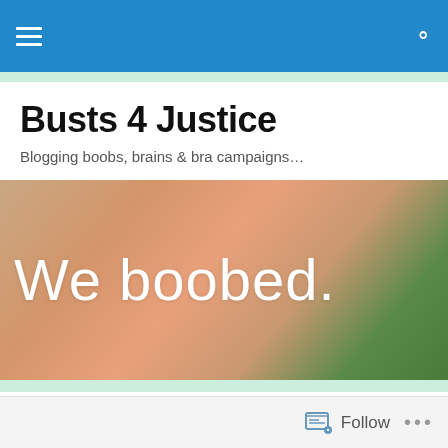Navigation bar with hamburger menu and search icon
Busts 4 Justice
Blogging boobs, brains & bra campaigns…
[Figure (photo): Close-up photo of a person wearing a green bra with lace trim, with large white text overlay reading 'We boobed.']
Curvy Kate Emily bra reviewed!
Follow  •••